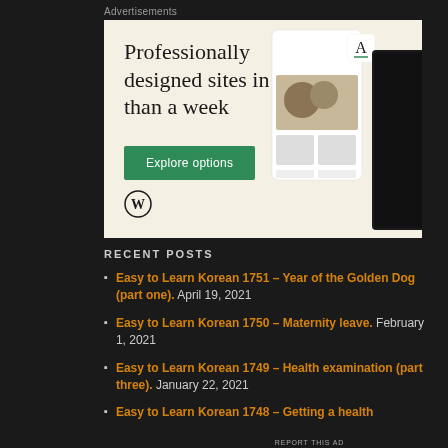Advertisements
[Figure (illustration): WordPress advertisement banner with cream/beige background. Headline reads 'Professionally designed sites in less than a week' in serif font. Green 'Explore options' button. WordPress logo at bottom left. Mock website/app screens shown on the right side.]
REPORT THIS AD
RECENT POSTS
Easy to Learn Korean 1751 – Year of the Golden Dog (part one). April 19, 2021
Easy to Learn Korean 1750 – Maternity leave. February 1, 2021
Easy to Learn Korean 1749 – Health examination (part three). January 22, 2021
Easy to Learn Korean 1748 – Getting a health...